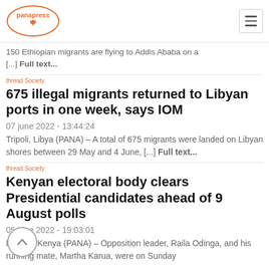[Figure (logo): Panapress logo with orange Africa continent outline and orange text]
150 Ethiopian migrants are flying to Addis Ababa on a [...] Full text...
thread Society
675 illegal migrants returned to Libyan ports in one week, says IOM
07 june 2022 - 13:44:24
Tripoli, Libya (PANA) – A total of 675 migrants were landed on Libyan shores between 29 May and 4 June, [...] Full text...
thread Society
Kenyan electoral body clears Presidential candidates ahead of 9 August polls
05 june 2022 - 19:03:01
Nairobi, Kenya (PANA) – Opposition leader, Raila Odinga, and his running mate, Martha Karua, were on Sunday cleared as Presidential [...] Full text...